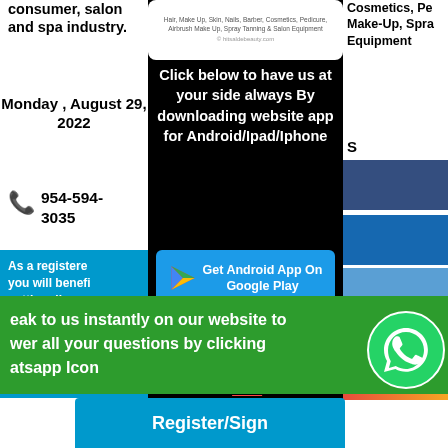consumer, salon and spa industry.
Monday , August 29, 2022
954-594-3035
As a registered you will benefit getting discou coupons , new
[Figure (screenshot): Website screenshot or logo image at top of center black panel]
Click below to have us at your side always By downloading website app for Android/Ipad/Iphone
Get Android App On Google Play
App For IOS Users
Click Here for IOS
Cosmetics, Pe Make-Up, Spra Equipment
S
eak to us instantly on our website to wer all your questions by clicking atsapp Icon
[Figure (logo): WhatsApp green circle icon]
Register/Sign